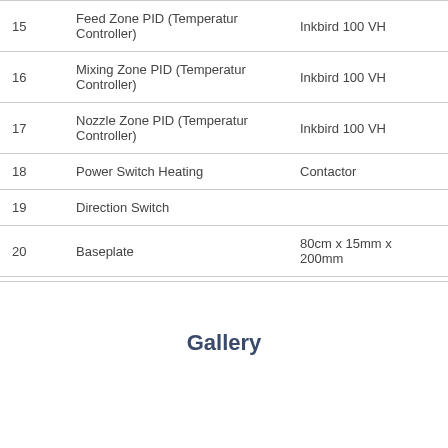| # | Description | Specification |
| --- | --- | --- |
| 15 | Feed Zone PID (Temperatur Controller) | Inkbird 100 VH |
| 16 | Mixing Zone PID (Temperatur Controller) | Inkbird 100 VH |
| 17 | Nozzle Zone PID (Temperatur Controller) | Inkbird 100 VH |
| 18 | Power Switch Heating | Contactor |
| 19 | Direction Switch |  |
| 20 | Baseplate | 80cm x 15mm x 200mm |
Gallery